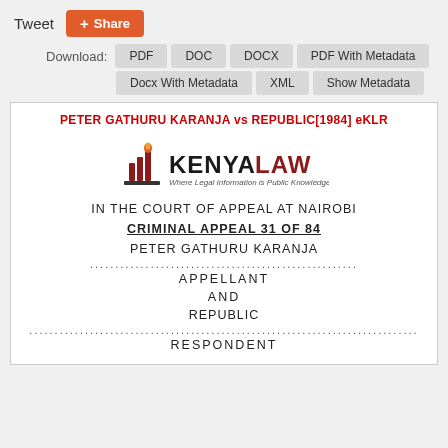Tweet  + Share
Download: PDF  DOC  DOCX  PDF With Metadata  Docx With Metadata  XML  Show Metadata
PETER GATHURU KARANJA vs REPUBLIC[1984] eKLR
[Figure (logo): Kenya Law logo - Where Legal Information is Public Knowledge]
IN THE COURT OF APPEAL AT NAIROBI
CRIMINAL  APPEAL 31 OF 84
PETER GATHURU KARANJA
APPELLANT
AND
REPUBLIC
RESPONDENT